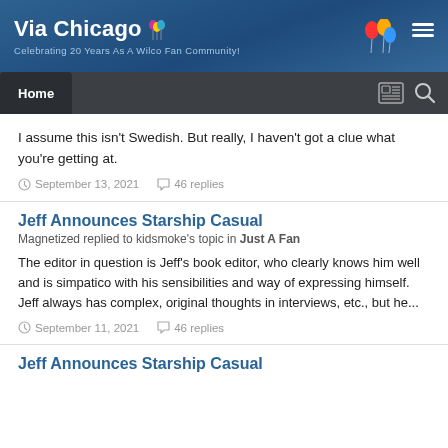Via Chicago — Celebrating 20 Years As A Wilco Fan Community!
I assume this isn't Swedish. But really, I haven't got a clue what you're getting at.
September 13, 2021  46 replies
Jeff Announces Starship Casual
Magnetized replied to kidsmoke's topic in Just A Fan
The editor in question is Jeff's book editor, who clearly knows him well and is simpatico with his sensibilities and way of expressing himself. Jeff always has complex, original thoughts in interviews, etc., but he...
September 11, 2021  46 replies
Jeff Announces Starship Casual